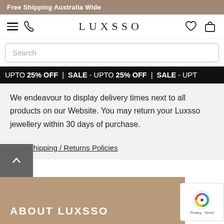Free Shipping Australia Wide
[Figure (logo): Luxsso website navigation bar with hamburger menu, phone icon, LUXSSO logo, heart and shopping bag icons]
Search
UPTO 25% OFF  |  SALE - UPTO 25% OFF  |  SALE - UPT
We endeavour to display delivery times next to all products on our Website. You may return your Luxsso jewellery within 30 days of purchase.
View Shipping / Returns Policies
ABOUT LUXSSO